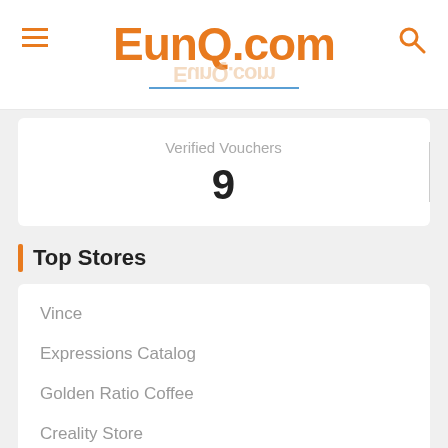EunQ.com
Verified Vouchers
9
Top Stores
Vince
Expressions Catalog
Golden Ratio Coffee
Creality Store
SRW
Carson-Dellosa
Cox Motor Parts